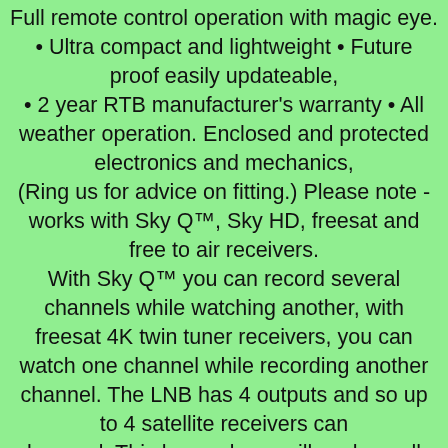Full remote control operation with magic eye. • Ultra compact and lightweight • Future proof easily updateable, • 2 year RTB manufacturer's warranty • All weather operation. Enclosed and protected electronics and mechanics, (Ring us for advice on fitting.) Please note - works with Sky Q™, Sky HD, freesat and free to air receivers. With Sky Q™ you can record several channels while watching another, with freesat 4K twin tuner receivers, you can watch one channel while recording another channel. The LNB has 4 outputs and so up to 4 satellite receivers can be used. This larger dome will work on all UK channels as far south as the Bordeaux to Lyon line but south of this line some of the weaker channels will be lost. However, since it is possible to switch to other satellites,